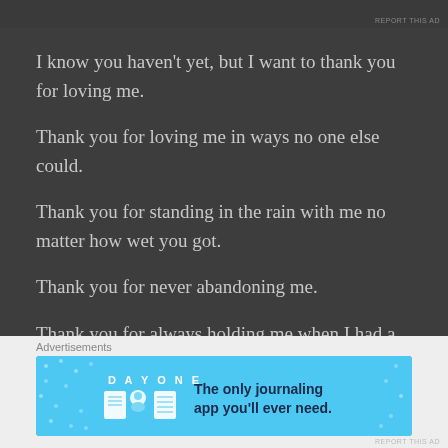REPORT THIS AD
I know you haven’t yet, but I want to thank you for loving me.
Thank you for loving me in ways no one else could.
Thank you for standing in the rain with me no matter how wet you got.
Thank you for never abandoning me.
Thank you for always holding me when I had a nightmare.
Advertisements
[Figure (illustration): DAY ONE journaling app advertisement banner with blue background, app icons, and text 'The only journaling app you’ll ever need.']